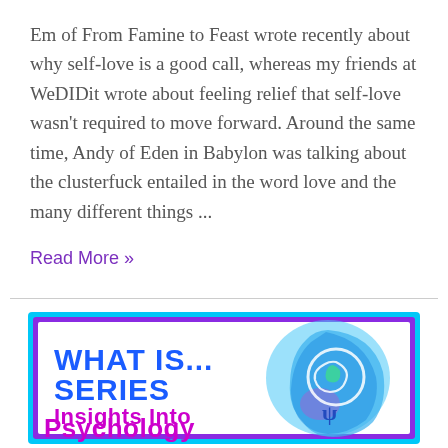Em of From Famine to Feast wrote recently about why self-love is a good call, whereas my friends at WeDIDit wrote about feeling relief that self-love wasn't required to move forward. Around the same time, Andy of Eden in Babylon was talking about the clusterfuck entailed in the word love and the many different things ...
Read More »
[Figure (illustration): Promotional graphic with a blue/purple border showing 'What Is... Series' in bold blue text and 'Insights Into Psychology' in bold magenta/purple text, alongside an artistic blue watercolor human head silhouette with a swirling psi symbol and leaf motif.]